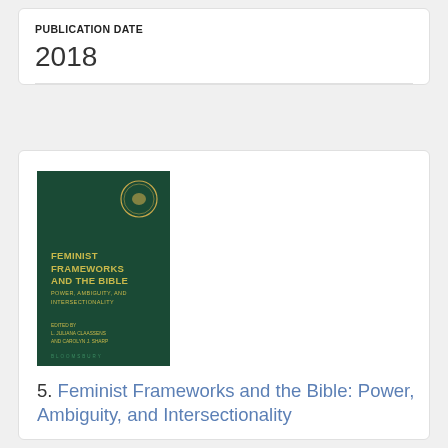PUBLICATION DATE
2018
[Figure (illustration): Book cover of 'Feminist Frameworks and the Bible: Power, Ambiguity, and Intersectionality' edited by L. Juliana Claassens and Carolyn J. Sharp, published by Bloomsbury. Dark green cover with yellow title text and a circular emblem at top right.]
5. Feminist Frameworks and the Bible: Power, Ambiguity, and Intersectionality